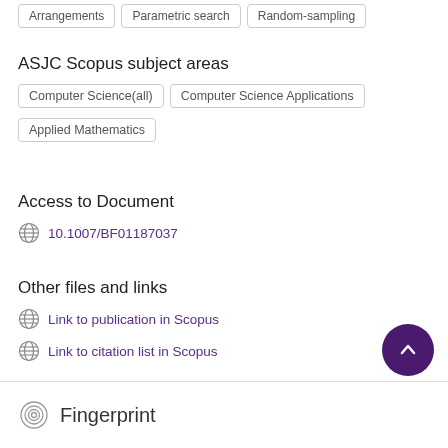Arrangements
Parametric search
Random-sampling
ASJC Scopus subject areas
Computer Science(all)
Computer Science Applications
Applied Mathematics
Access to Document
10.1007/BF01187037
Other files and links
Link to publication in Scopus
Link to citation list in Scopus
Fingerprint